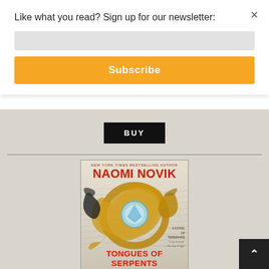Like what you read? Sign up for our newsletter:
Subscribe
BUY
[Figure (illustration): Book cover of 'Tongues of Serpents' by Naomi Novik - A Novel of Temeraire. Cover features dragons coiled together with a gemstone eye. Text reads: NEW YORK TIMES BESTSELLING AUTHOR, NAOMI NOVIK, A NOVEL OF TEMERAIRE, 'A joy to read.' —The Star-Ledger, TONGUES OF SERPENTS]
×